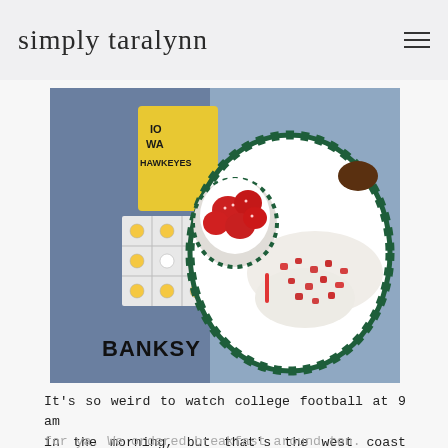simply taralynn
[Figure (photo): Overhead view of a plate with eggs and diced tomatoes and a bowl of strawberries, alongside Iowa Hawkeyes and Banksy-themed items on a table.]
It's so weird to watch college football at 9 am in the morning, but that's the west coast time for ya. We ordered breakfast around ten.
[Figure (photo): Partial bottom image, cut off at page edge.]